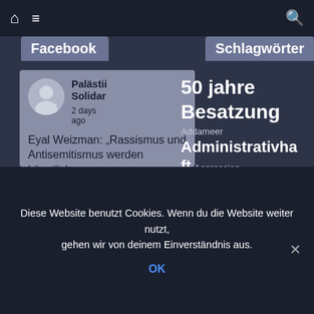🏠 ☰ 🔍
Facebook
Schlagwörter
Palästii Solidar
2 days ago

Eyal Weizman: „Rassismus und Antisemitismus werden künstlich
50 jahre Besatzung
Addameer
Administrativhaft Aggression
Antisemitismus
Apartheid BDS
Berlin
Besatzung Bil'in
Bonn Bremen
Drohnen
Diese Website benutzt Cookies. Wenn du die Website weiter nutzt, gehen wir von deinem Einverständnis aus.
OK